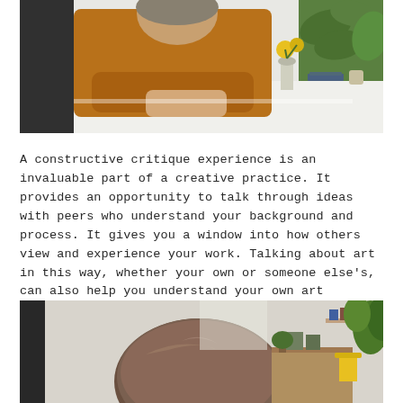[Figure (photo): Person in an orange/rust sweater seated at a white desk, with green tropical plants, yellow flowers in a vase, and candles visible in background.]
A constructive critique experience is an invaluable part of a creative practice. It provides an opportunity to talk through ideas with peers who understand your background and process. It gives you a window into how others view and experience your work. Talking about art in this way, whether your own or someone else's, can also help you understand your own art philosophies more clearly. Critique can create community, heal self doubt, and offer paths out of creative block.
[Figure (photo): Back of a person's head with brown hair, sitting in a room with plants, a yellow lamp, wooden furniture, and art supplies visible in background.]